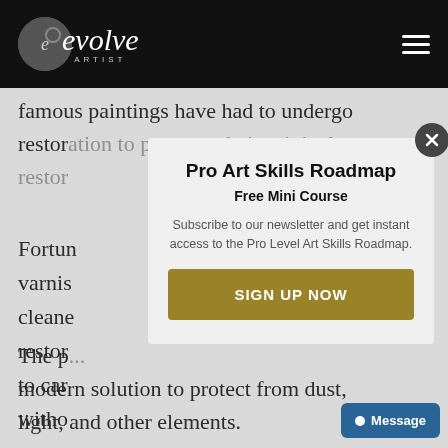evolve ARTIST
famous paintings have had to undergo restoration to preserve their original restor
Fortun varnis cleane restor to car witho
The p modern solution to protect from dust, light, and other elements.
[Figure (screenshot): Modal popup with title 'Pro Art Skills Roadmap', subtitle 'Free Mini Course', body text 'Subscribe to our newsletter and get instant access to the Pro Level Art Skills Roadmap.', and a gold 'SIGN UP NOW' button. A close (X) button is in the top-right corner of the modal.]
Message